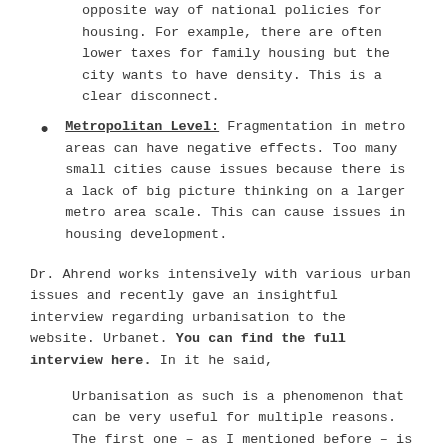opposite way of national policies for housing. For example, there are often lower taxes for family housing but the city wants to have density.  This is a clear disconnect.
Metropolitan Level: Fragmentation in metro areas can have negative effects. Too many small cities cause issues because there is a lack of big picture thinking on a larger metro area scale.  This can cause issues in housing development.
Dr. Ahrend works intensively with various urban issues and recently gave an insightful interview regarding urbanisation to the website.  Urbanet.  You can find the full interview here.   In it he said,
Urbanisation as such is a phenomenon that can be very useful for multiple reasons. The first one – as I mentioned before – is that people in cities are more productive than in smaller towns or in